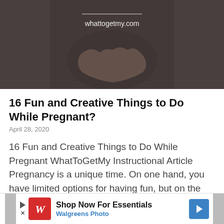[Figure (photo): Hero image of a pregnant woman holding her belly, dark background with whattogetmy.com watermark text]
16 Fun and Creative Things to Do While Pregnant?
April 28, 2020
16 Fun and Creative Things to Do While Pregnant WhatToGetMy Instructional Article Pregnancy is a unique time. On one hand, you have limited options for having fun, but on the other, you've got plenty of time. While you can't partake in certain activities you once
Read More »
[Figure (screenshot): Walgreens Photo advertisement banner: Shop Now For Essentials, Walgreens Photo]